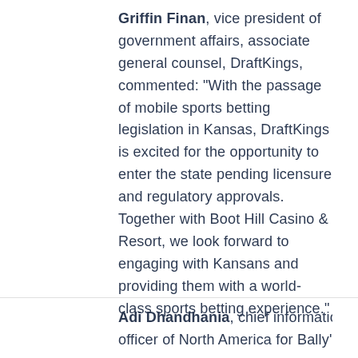Griffin Finan, vice president of government affairs, associate general counsel, DraftKings, commented: “With the passage of mobile sports betting legislation in Kansas, DraftKings is excited for the opportunity to enter the state pending licensure and regulatory approvals. Together with Boot Hill Casino & Resort, we look forward to engaging with Kansans and providing them with a world-class sports betting experience.”
Adi Dhandhania, chief information officer of North America for Bally’s